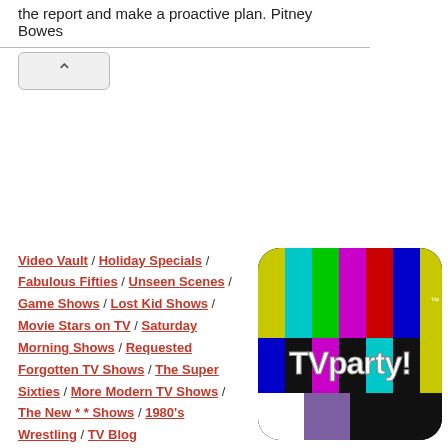the report and make a proactive plan. Pitney Bowes
[Figure (logo): TVparty! logo with color TV test pattern bars and stylized text]
Video Vault / Holiday Specials / Fabulous Fifties / Unseen Scenes / Game Shows / Lost Kid Shows / Movie Stars on TV / Saturday Morning Shows / Requested Forgotten TV Shows / The Super Sixties / More Modern TV Shows / The New * * Shows / 1980's Wrestling / TV Blog